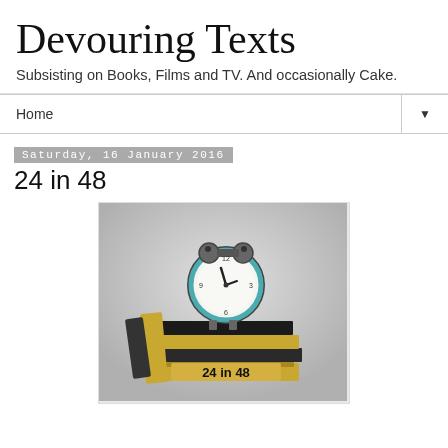Devouring Texts
Subsisting on Books, Films and TV. And occasionally Cake.
Home ▼
Saturday, 16 January 2016
24 in 48
[Figure (photo): A teal alarm clock sitting on top of a stack of books against a grey background. The bottom book has '24 in 48' written on it in bold text.]